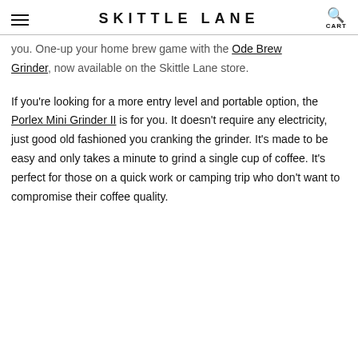SKITTLE LANE
you. One-up your home brew game with the Ode Brew Grinder, now available on the Skittle Lane store.
If you're looking for a more entry level and portable option, the Porlex Mini Grinder II is for you. It doesn't require any electricity, just good old fashioned you cranking the grinder. It's made to be easy and only takes a minute to grind a single cup of coffee. It's perfect for those on a quick work or camping trip who don't want to compromise their coffee quality.